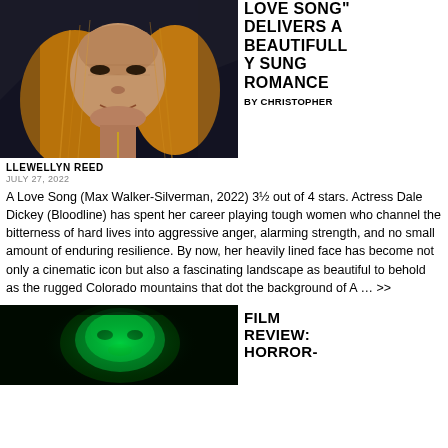[Figure (photo): Close-up portrait of actress Dale Dickey with long blonde hair and heavily lined face, dramatic lighting against dark background with mountain silhouettes]
LOVE SONG" DELIVERS A BEAUTIFULLY SUNG ROMANCE
BY CHRISTOPHER
LLEWELLYN REED
JULY 27, 2022
A Love Song (Max Walker-Silverman, 2022) 3½ out of 4 stars. Actress Dale Dickey (Bloodline) has spent her career playing tough women who channel the bitterness of hard lives into aggressive anger, alarming strength, and no small amount of enduring resilience. By now, her heavily lined face has become not only a cinematic icon but also a fascinating landscape as beautiful to behold as the rugged Colorado mountains that dot the background of A … >>
[Figure (photo): Horror film still showing a face illuminated by green light with dramatic makeup or prosthetics]
FILM REVIEW: HORROR-